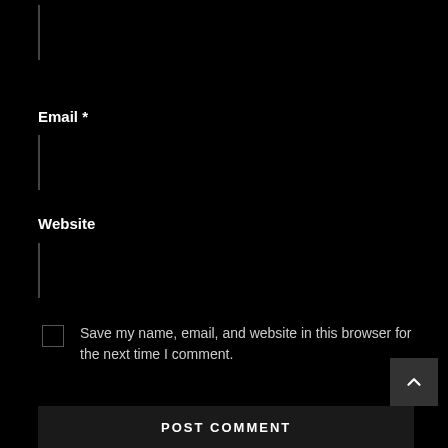[Figure (screenshot): Empty text input box for a form field at the top of the page]
Email *
[Figure (screenshot): Empty text input box for Email field]
Website
[Figure (screenshot): Empty text input box for Website field]
Save my name, email, and website in this browser for the next time I comment.
POST COMMENT
POST COMMENT